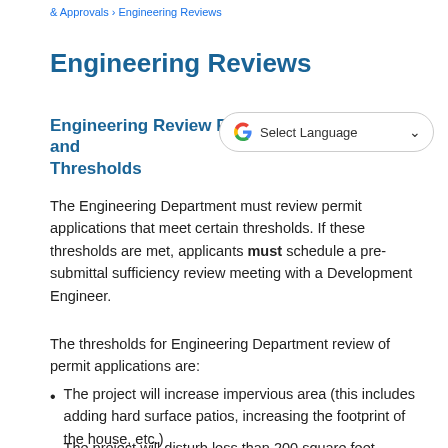& Approvals › Engineering Reviews
Engineering Reviews
Engineering Review Requirements and Thresholds
[Figure (other): Google Translate 'Select Language' widget with Google G logo and dropdown arrow]
The Engineering Department must review permit applications that meet certain thresholds. If these thresholds are met, applicants must schedule a pre-submittal sufficiency review meeting with a Development Engineer.
The thresholds for Engineering Department review of permit applications are:
The project will increase impervious area (this includes adding hard surface patios, increasing the footprint of the house, etc.)
The project will disturb less than 200 square feet